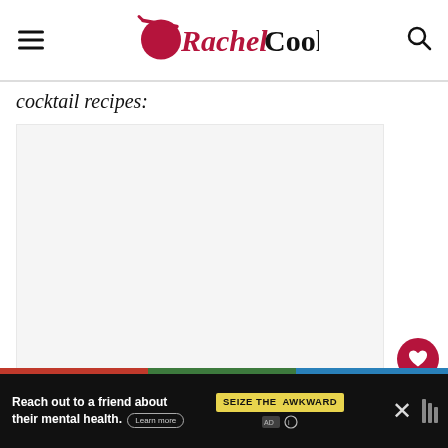Rachel Cooks
cocktail recipes:
[Figure (other): Large blank/white content area, main article image area]
[Figure (infographic): Advertisement bar: Reach out to a friend about their mental health. SEIZE THE AWKWARD. Learn more.]